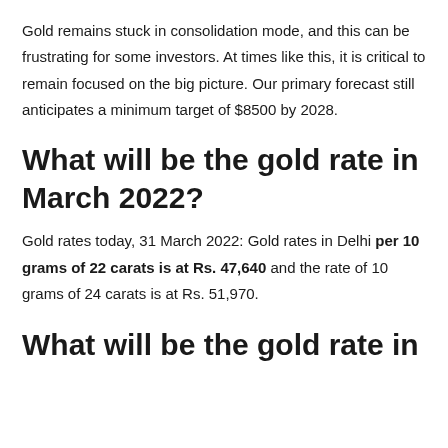Gold remains stuck in consolidation mode, and this can be frustrating for some investors. At times like this, it is critical to remain focused on the big picture. Our primary forecast still anticipates a minimum target of $8500 by 2028.
What will be the gold rate in March 2022?
Gold rates today, 31 March 2022: Gold rates in Delhi per 10 grams of 22 carats is at Rs. 47,640 and the rate of 10 grams of 24 carats is at Rs. 51,970.
What will be the gold rate in